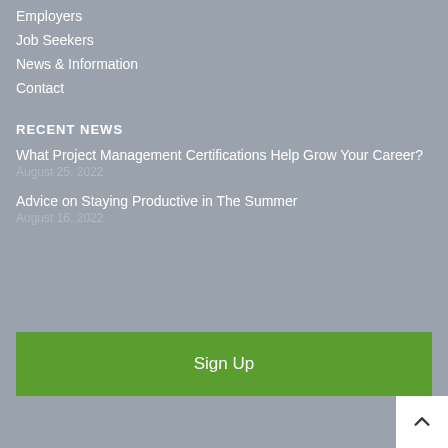Employers
Job Seekers
News & Information
Contact
RECENT NEWS
What Project Management Certifications Help Grow Your Career?
August 25, 2022
Advice on Staying Productive in The Summer
August 16, 2022
Sign Up